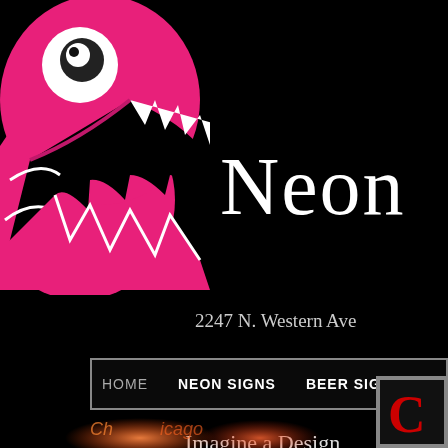[Figure (illustration): Pink monster/creature logo with jagged teeth, white line art details, eye, on black background — partially cropped at left and top edges]
Neon
2247 N. Western Ave
HOME   NEON SIGNS   BEER SIGNS
Imagine a Design
[Figure (logo): Red letter C logo in a square border, bottom right corner]
[Figure (photo): Glowing neon sign text partially visible at bottom center of page, warm orange/pink glow on black background]